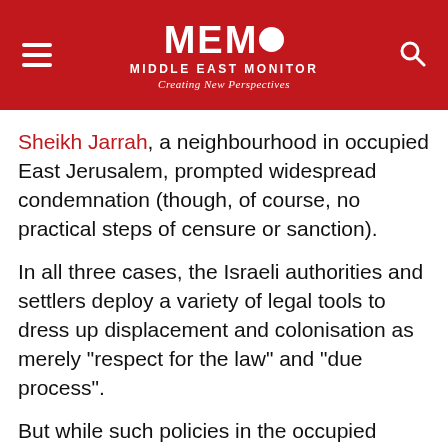MEMO MIDDLE EAST MONITOR Creating New Perspectives
Sheikh Jarrah, a neighbourhood in occupied East Jerusalem, prompted widespread condemnation (though, of course, no practical steps of censure or sanction).
In all three cases, the Israeli authorities and settlers deploy a variety of legal tools to dress up displacement and colonisation as merely "respect for the law" and "due process".
But while such policies in the occupied Palestinian territory (oPt) have been widely denounced, even by the state's allies, there is a profound lack of awareness about how Israel